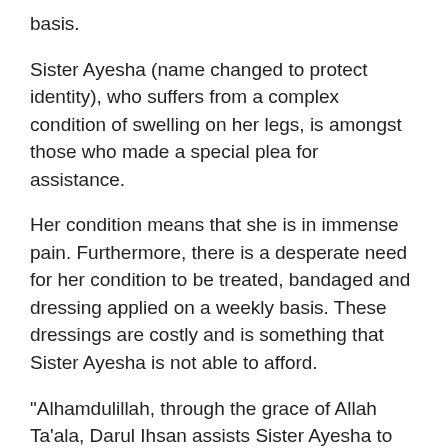basis.
Sister Ayesha (name changed to protect identity), who suffers from a complex condition of swelling on her legs, is amongst those who made a special plea for assistance.
Her condition means that she is in immense pain. Furthermore, there is a desperate need for her condition to be treated, bandaged and dressing applied on a weekly basis. These dressings are costly and is something that Sister Ayesha is not able to afford.
"Alhamdulillah, through the grace of Allah Ta'ala, Darul Ihsan assists Sister Ayesha to settle her monthly medical bill so that she can acquire the necessary treatment that she requires," the Welfare Department said.
Another case is that of Brother Abdullah (name